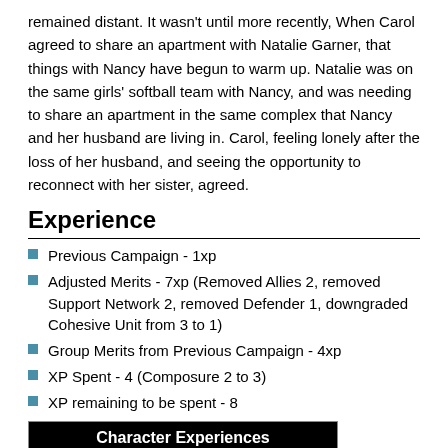remained distant. It wasn't until more recently, When Carol agreed to share an apartment with Natalie Garner, that things with Nancy have begun to warm up. Natalie was on the same girls' softball team with Nancy, and was needing to share an apartment in the same complex that Nancy and her husband are living in. Carol, feeling lonely after the loss of her husband, and seeing the opportunity to reconnect with her sister, agreed.
Experience
Previous Campaign - 1xp
Adjusted Merits - 7xp (Removed Allies 2, removed Support Network 2, removed Defender 1, downgraded Cohesive Unit from 3 to 1)
Group Merits from Previous Campaign - 4xp
XP Spent - 4 (Composure 2 to 3)
XP remaining to be spent - 8
| Character Experiences |
| --- |
| • Current Beats: 4 |
| • Unspent Experiences: 4 |
| • Spent Experiences: 6 |
| Experiences Earned |
| 1 |